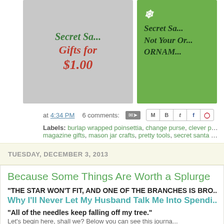[Figure (photo): Two blog post thumbnail images side by side: left is gray background with green cursive 'Secret Sa...' and red 'Gifts for $1.00' text, right is green background with dark green 'Secret Sa... Not Your Or... ORNAM...' text]
at 4:34 PM   6 comments:
Labels: burlap wrapped poinsettia, change purse, clever poinsettica, magazine gifts, mason jar crafts, pretty tools, secret santa gifts, t...
TUESDAY, DECEMBER 3, 2013
Because Some Things Are Worth a Splurge
"THE STAR WON'T FIT, AND ONE OF THE BRANCHES IS BRO...
Why I'll Never Let My Husband Talk Me Into Spendi...
"All of the needles keep falling off my tree."
Let's begin here, shall we? Below you can see this journa...